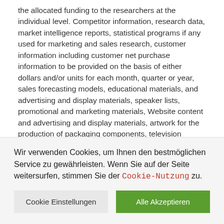the allocated funding to the researchers at the individual level. Competitor information, research data, market intelligence reports, statistical programs if any used for marketing and sales research, customer information including customer net purchase information to be provided on the basis of either dollars and/or units for each month, quarter or year, sales forecasting models, educational materials, and advertising and display materials, speaker lists, promotional and marketing materials, Website content and advertising and display materials, artwork for the production of packaging components, television masters and other similar materials related to the specified Divestiture Product. One of the most influential fashion magazines in the world, appearing in VOGUE cements a brand's success. When you click this button, you will get a list of links to the article or
Wir verwenden Cookies, um Ihnen den bestmöglichen Service zu gewährleisten. Wenn Sie auf der Seite weitersurfen, stimmen Sie der Cookie-Nutzung zu.
Cookie Einstellungen
Alle Akzeptieren